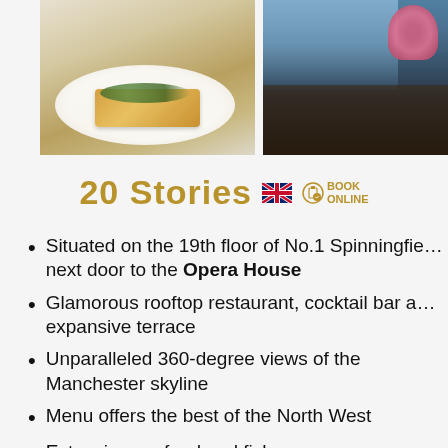[Figure (photo): Close-up photo of a plated food dish on a white plate, showing a golden-coloured item with green garnish]
[Figure (photo): Interior of a rooftop restaurant with tables set for dining, large windows with city views, and floral decorations]
20 Stories
Situated on the 19th floor of No.1 Spinningfields, next door to the Opera House
Glamorous rooftop restaurant, cocktail bar and expansive terrace
Unparalleled 360-degree views of the Manchester skyline
Menu offers the best of the North West
Extensive seafood and fish menu